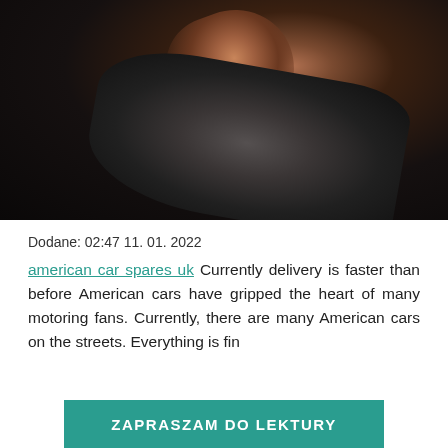[Figure (photo): Dark photograph showing a person's hand and arm in a grey jacket against a very dark background]
Dodane: 02:47 11. 01. 2022
american car spares uk Currently delivery is faster than before American cars have gripped the heart of many motoring fans. Currently, there are many American cars on the streets. Everything is fin
ZAPRASZAM DO LEKTURY